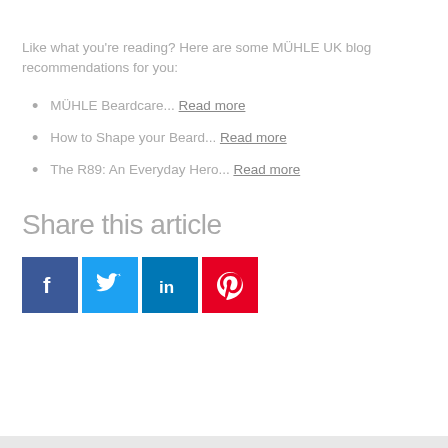Like what you're reading? Here are some MÜHLE UK blog recommendations for you:
MÜHLE Beardcare... Read more
How to Shape your Beard... Read more
The R89: An Everyday Hero... Read more
Share this article
[Figure (infographic): Social media share icons: Facebook (blue), Twitter (light blue), LinkedIn (dark blue), Pinterest (red)]